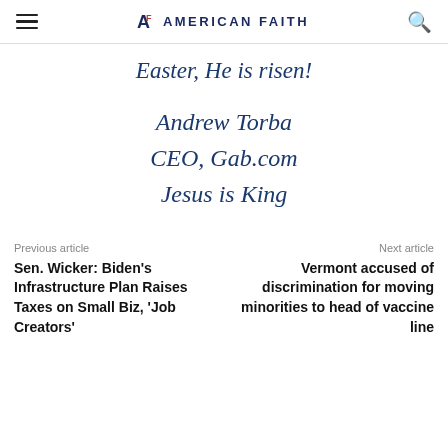AMERICAN FAITH
Easter, He is risen!
Andrew Torba
CEO, Gab.com
Jesus is King
Previous article
Sen. Wicker: Biden's Infrastructure Plan Raises Taxes on Small Biz, 'Job Creators'
Next article
Vermont accused of discrimination for moving minorities to head of vaccine line